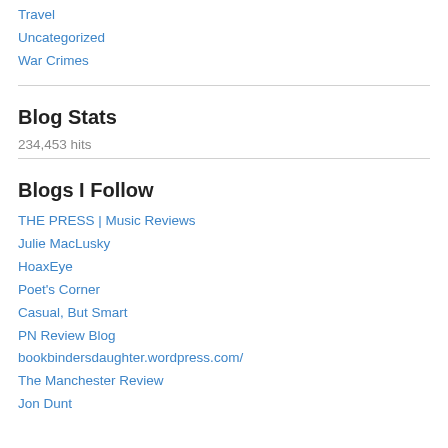Travel
Uncategorized
War Crimes
Blog Stats
234,453 hits
Blogs I Follow
THE PRESS | Music Reviews
Julie MacLusky
HoaxEye
Poet's Corner
Casual, But Smart
PN Review Blog
bookbindersdaughter.wordpress.com/
The Manchester Review
Jon Dunt